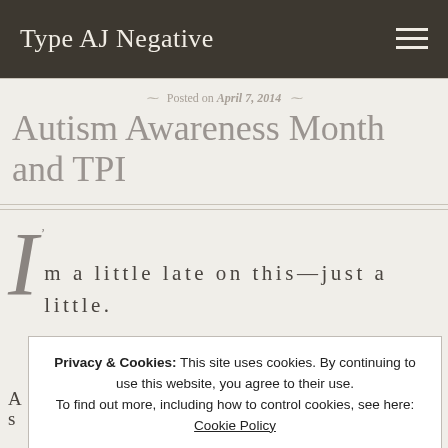Type AJ Negative
Posted on April 7, 2014
Autism Awareness Month and TPI
I'm a little late on this—just a little.
Privacy & Cookies: This site uses cookies. By continuing to use this website, you agree to their use. To find out more, including how to control cookies, see here: Cookie Policy
Close and accept